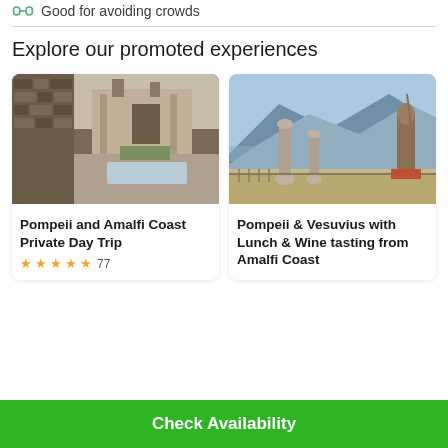Good for avoiding crowds
Explore our promoted experiences
[Figure (photo): Pompeii ruins showing ancient Roman building interior with stone walls and impluvium]
Pompeii and Amalfi Coast Private Day Trip
★★★★★ 77
[Figure (photo): Pompeii archaeological site with ancient columns, a statue, and Mount Vesuvius in background]
Pompeii & Vesuvius with Lunch & Wine tasting from Amalfi Coast
Check Availability